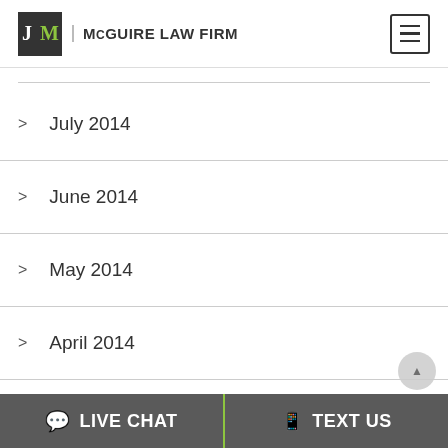McGuire Law Firm
July 2014
June 2014
May 2014
April 2014
March 2014
February 2014
LIVE CHAT   TEXT US